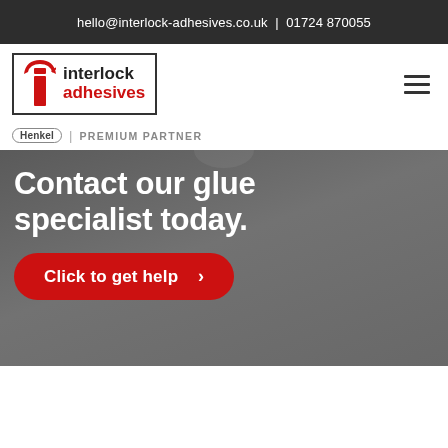hello@interlock-adhesives.co.uk | 01724 870055
[Figure (logo): Interlock Adhesives logo with red 'i' icon, bordered box, text 'interlock adhesives']
Henkel | PREMIUM PARTNER
Contact our glue specialist today.
Click to get help >